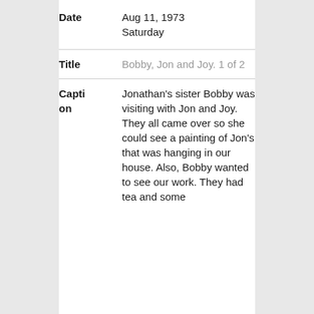| Field | Value |
| --- | --- |
| Date | Aug 11, 1973
Saturday |
| Title | Bobby, Jon and Joy. 1 of 2 |
| Caption | Jonathan's sister Bobby was visiting with Jon and Joy. They all came over so she could see a painting of Jon's that was hanging in our house. Also, Bobby wanted to see our work. They had tea and some |